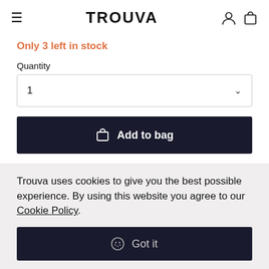TROUVA
Only 3 left in stock
Quantity
1
Add to bag
Our delivery is now carbon neutral
Trouva uses cookies to give you the best possible experience. By using this website you agree to our Cookie Policy.
Got it